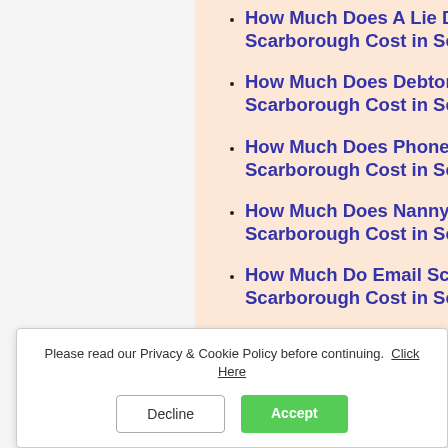How Much Does A Lie Detector Test By Private Investigator Scarborough Cost in Scarborough?
How Much Does Debtor Tracing By Private Investigator Scarborough Cost in Scarborough?
How Much Does Phone Forensics By Private Investigator Scarborough Cost in Scarborough?
How Much Does Nanny Monitoring By Private Investigator Scarborough Cost in Scarborough?
How Much Do Email Scam Investigations By Private Investigator Scarborough Cost in Scarborough?
How Much Does PC Forensics Cost By Private Investigator Scarborough in Scarborough?
How Much Does Close Protection Cost By Private Investigator Scarborough in Scarborough?
How Much Do Fraud Investigations By Private Investigator Scarborough Cost in Scarborough?
How Much Does A Corporate Investigation Cost By Private Investigator...
Please read our Privacy & Cookie Policy before continuing. Click Here